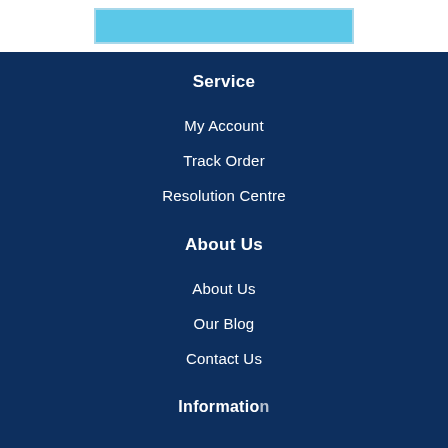[Figure (screenshot): Light blue banner/image at the top of the page]
Service
My Account
Track Order
Resolution Centre
About Us
About Us
Our Blog
Contact Us
Information